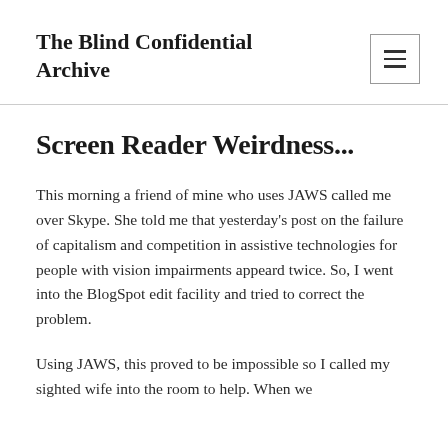The Blind Confidential Archive
Screen Reader Weirdness...
This morning a friend of mine who uses JAWS called me over Skype. She told me that yesterday's post on the failure of capitalism and competition in assistive technologies for people with vision impairments appeard twice. So, I went into the BlogSpot edit facility and tried to correct the problem.
Using JAWS, this proved to be impossible so I called my sighted wife into the room to help. When we